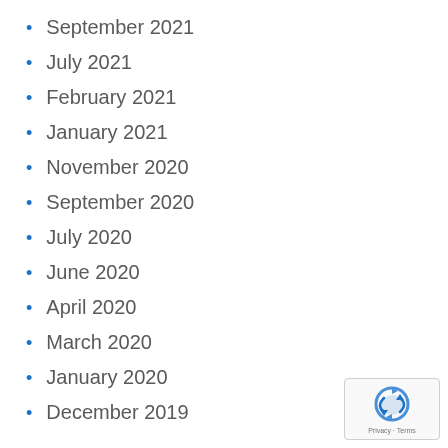September 2021
July 2021
February 2021
January 2021
November 2020
September 2020
July 2020
June 2020
April 2020
March 2020
January 2020
December 2019
[Figure (logo): reCAPTCHA badge with Privacy and Terms text]